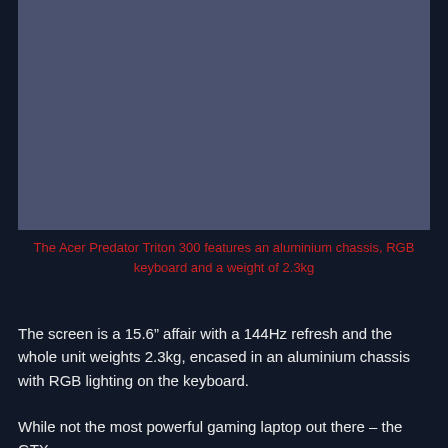[Figure (photo): Photo of the Acer Predator Triton 300 laptop — aluminium chassis gaming laptop with RGB keyboard]
The Acer Predator Triton 300 features an aluminium chassis, RGB keyboard and a weight of 2.3kg
The screen is a 15.6" affair with a 144Hz refresh and the whole unit weights 2.3kg, encased in an aluminium chassis with RGB lighting on the keyboard.
While not the most powerful gaming laptop out there – the GTX